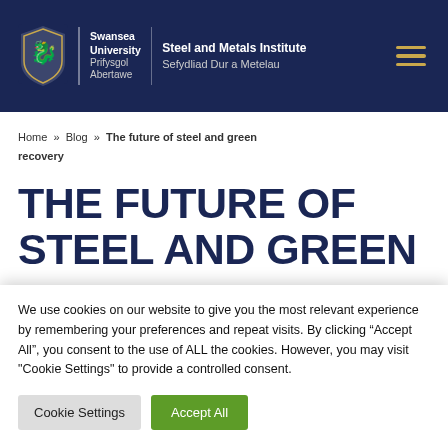Swansea University Steel and Metals Institute Sefydliad Dur a Metelau
Home » Blog » The future of steel and green recovery
THE FUTURE OF STEEL AND GREEN
We use cookies on our website to give you the most relevant experience by remembering your preferences and repeat visits. By clicking "Accept All", you consent to the use of ALL the cookies. However, you may visit "Cookie Settings" to provide a controlled consent.